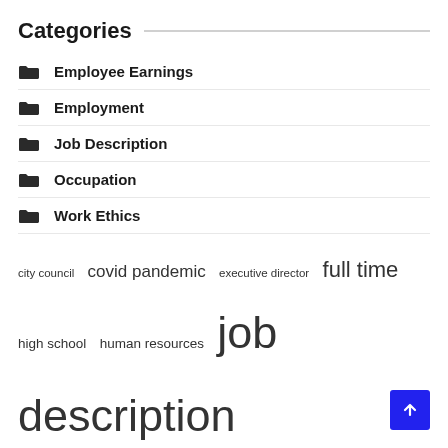Categories
Employee Earnings
Employment
Job Description
Occupation
Work Ethics
city council  covid pandemic  executive director  full time  high school  human resources  job description  labor market  long term  part time  short term  united states  vice president  work ethic  young people